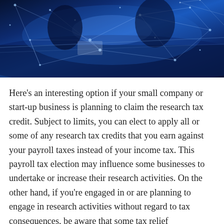[Figure (photo): Blue-toned technology/business photo showing people working at a meeting table with digital network lines and light effects overlay, suggesting a tech/finance business environment.]
Here’s an interesting option if your small company or start-up business is planning to claim the research tax credit. Subject to limits, you can elect to apply all or some of any research tax credits that you earn against your payroll taxes instead of your income tax. This payroll tax election may influence some businesses to undertake or increase their research activities. On the other hand, if you’re engaged in or are planning to engage in research activities without regard to tax consequences, be aware that some tax relief